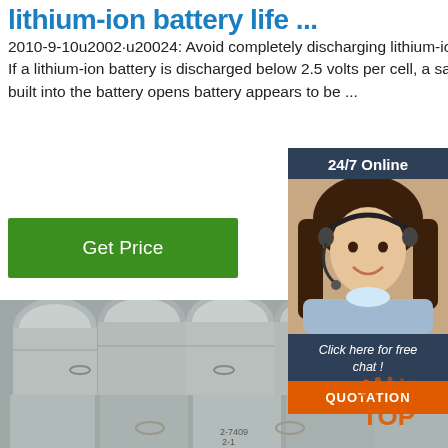lithium-ion battery life ...
2010-9-10u2002·u20024: Avoid completely discharging lithium-ion batteries. If a lithium-ion battery is discharged below 2.5 volts per cell, a safety circuit built into the battery opens battery appears to be ...
Get Price
[Figure (photo): Customer service representative woman with headset, smiling, with '24/7 Online' header and 'Click here for free chat!' text and 'QUOTATION' button]
[Figure (photo): Close-up photo of bundled metal rods/bars (steel or aluminum) with a TOP logo watermark in the lower right corner]